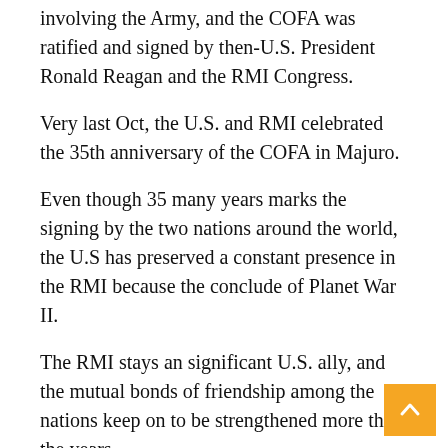involving the Army, and the COFA was ratified and signed by then-U.S. President Ronald Reagan and the RMI Congress.
Very last Oct, the U.S. and RMI celebrated the 35th anniversary of the COFA in Majuro.
Even though 35 many years marks the signing by the two nations around the world, the U.S has preserved a constant presence in the RMI because the conclude of Planet War II.
The RMI stays an significant U.S. ally, and the mutual bonds of friendship among the nations keep on to be strengthened more than the years.
The U.S. and RMI are now renegotiating the COFA, which is established to expire in 2023. The res of those people negotiations could have major impacts on the Garrison's functions in-theater.